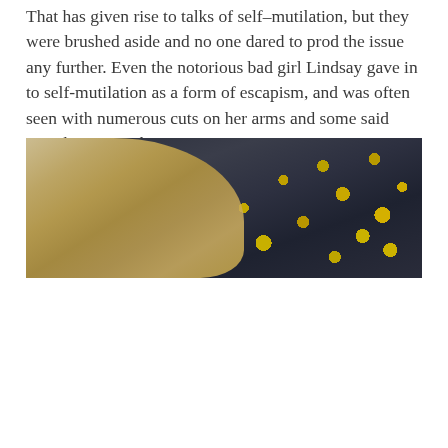That has given rise to talks of self–mutilation, but they were brushed aside and no one dared to prod the issue any further. Even the notorious bad girl Lindsay gave in to self-mutilation as a form of escapism, and was often seen with numerous cuts on her arms and some said even her stomach.
[Figure (photo): Photo showing the top of a blonde person's head against a dark background with golden bokeh/sparkle effects]